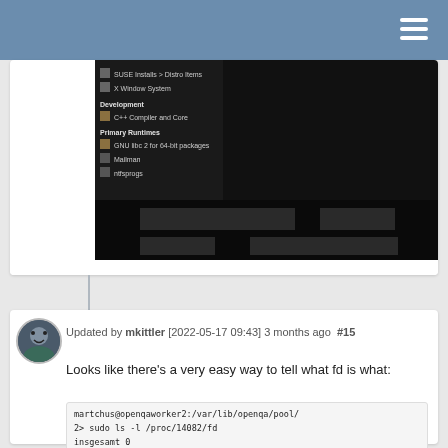[Figure (screenshot): Screenshot of a software installer or package manager showing a dark-themed UI with sidebar items including Development, C/C++ Compiler and Core, Primary Runtimes, and other items. The right panel is dark/black.]
Updated by mkittler [2022-05-17 09:43] 3 months ago #15
Looks like there's a very easy way to tell what fd is what:
martchus@openqaworker2:/var/lib/openqa/pool/2> sudo ls -l /proc/14082/fd
insgesamt 0
lr-x------ 1 _openqa-worker nogroup 64 17.